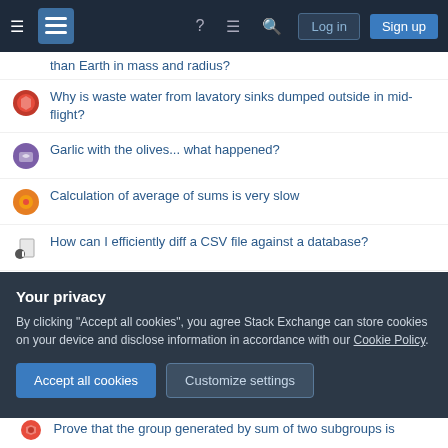Stack Exchange navigation bar with Log in and Sign up buttons
than Earth in mass and radius?
Why is waste water from lavatory sinks dumped outside in mid-flight?
Garlic with the olives... what happened?
Calculation of average of sums is very slow
How can I efficiently diff a CSV file against a database?
Is it a properly tiered list?
9 speed Shimano (shifter+derailleur) + 8 speed cassette
What is the political justification by China and India for not participating in the sanctions against Russia?
How to publish results of master theses
Your privacy
By clicking "Accept all cookies", you agree Stack Exchange can store cookies on your device and disclose information in accordance with our Cookie Policy.
Accept all cookies   Customize settings
Prove that the group generated by sum of two subgroups is